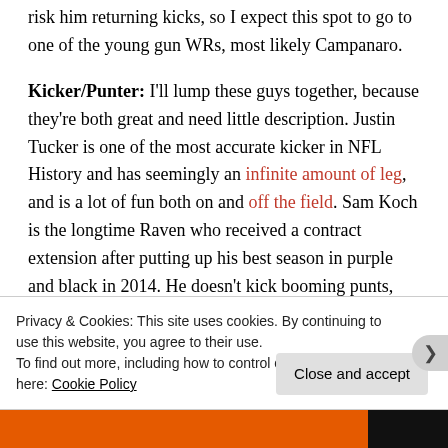risk him returning kicks, so I expect this spot to go to one of the young gun WRs, most likely Campanaro.
Kicker/Punter: I'll lump these guys together, because they're both great and need little description. Justin Tucker is one of the most accurate kicker in NFL History and has seemingly an infinite amount of leg, and is a lot of fun both on and off the field. Sam Koch is the longtime Raven who received a contract extension after putting up his best season in purple and black in 2014. He doesn't kick booming punts,
Privacy & Cookies: This site uses cookies. By continuing to use this website, you agree to their use. To find out more, including how to control cookies, see here: Cookie Policy